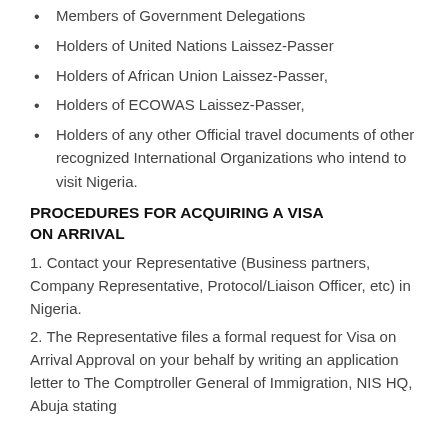Members of Government Delegations
Holders of United Nations Laissez-Passer
Holders of African Union Laissez-Passer,
Holders of ECOWAS Laissez-Passer,
Holders of any other Official travel documents of other recognized International Organizations who intend to visit Nigeria.
PROCEDURES FOR ACQUIRING A VISA ON ARRIVAL
1. Contact your Representative (Business partners, Company Representative, Protocol/Liaison Officer, etc) in Nigeria.
2. The Representative files a formal request for Visa on Arrival Approval on your behalf by writing an application letter to The Comptroller General of Immigration, NIS HQ, Abuja stating